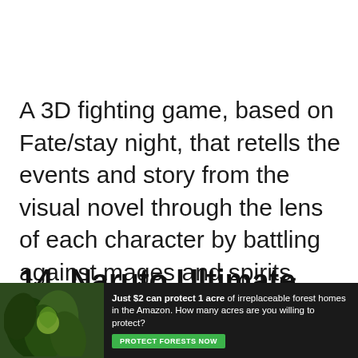A 3D fighting game, based on Fate/stay night, that retells the events and story from the visual novel through the lens of each character by battling against mages and spirits. The game received positive sales and reception in Japan and in the West upon release.
14. Naruto Ultimate Ninja Heroes 2: The Phantom Fortress
[Figure (infographic): Advertisement banner: green forest background with leaf imagery on left, white text reading 'Just $2 can protect 1 acre of irreplaceable forest homes in the Amazon. How many acres are you willing to protect?' and a green 'PROTECT FORESTS NOW' button.]